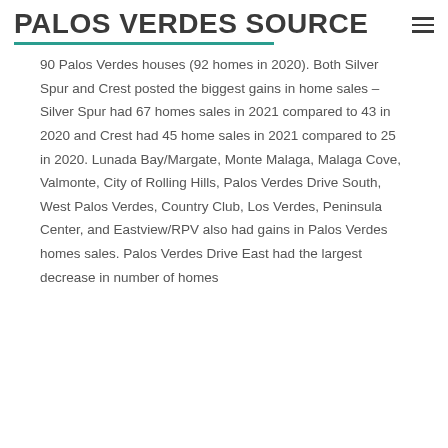PALOS VERDES SOURCE
90 Palos Verdes houses (92 homes in 2020). Both Silver Spur and Crest posted the biggest gains in home sales – Silver Spur had 67 homes sales in 2021 compared to 43 in 2020 and Crest had 45 home sales in 2021 compared to 25 in 2020. Lunada Bay/Margate, Monte Malaga, Malaga Cove, Valmonte, City of Rolling Hills, Palos Verdes Drive South, West Palos Verdes, Country Club, Los Verdes, Peninsula Center, and Eastview/RPV also had gains in Palos Verdes homes sales. Palos Verdes Drive East had the largest decrease in number of homes